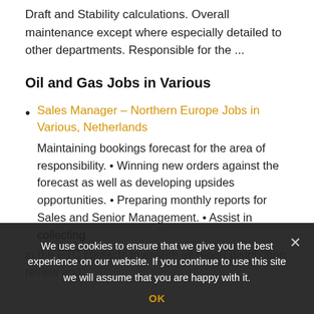Draft and Stability calculations. Overall maintenance except where especially detailed to other departments. Responsible for the ...
Oil and Gas Jobs in Various
Sales Manager – Northern Europe Jobs in Various, Netherlands
Maintaining bookings forecast for the area of responsibility. • Winning new orders against the forecast as well as developing upsides opportunities. • Preparing monthly reports for Sales and Senior Management. • Assist in collecting
to the ETC contacts to ensure all report distribution review and
We use cookies to ensure that we give you the best experience on our website. If you continue to use this site we will assume that you are happy with it.
OK